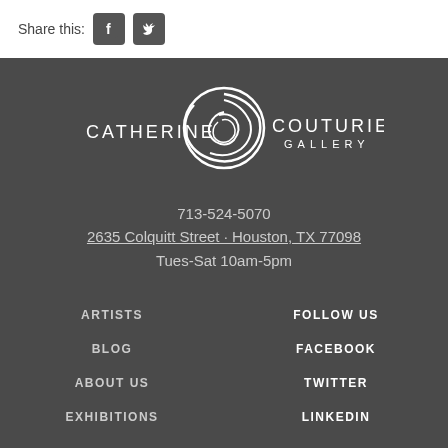Share this:
[Figure (logo): Facebook and Twitter social media icons]
[Figure (logo): Catherine Couturier Gallery logo with circular swirl emblem]
713-524-5070
2635 Colquitt Street · Houston, TX 77098
Tues-Sat 10am-5pm
ARTISTS
FOLLOW US
BLOG
FACEBOOK
ABOUT US
TWITTER
EXHIBITIONS
LINKEDIN